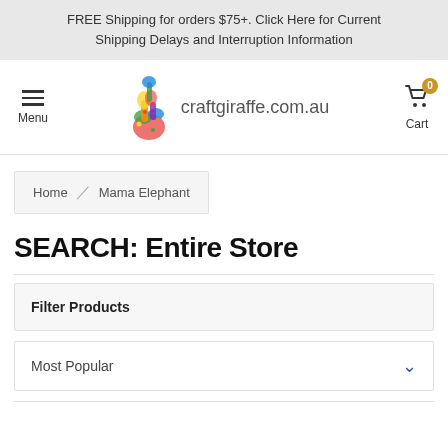FREE Shipping for orders $75+. Click Here for Current Shipping Delays and Interruption Information
[Figure (logo): Craft Giraffe logo with colorful giraffe silhouette and text 'craftgiraffe.com.au']
Home / Mama Elephant
SEARCH: Entire Store
Filter Products
Most Popular